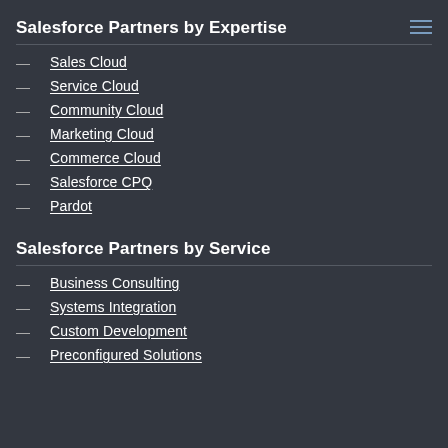Salesforce Partners by Expertise
Sales Cloud
Service Cloud
Community Cloud
Marketing Cloud
Commerce Cloud
Salesforce CPQ
Pardot
Salesforce Partners by Service
Business Consulting
Systems Integration
Custom Development
Preconfigured Solutions